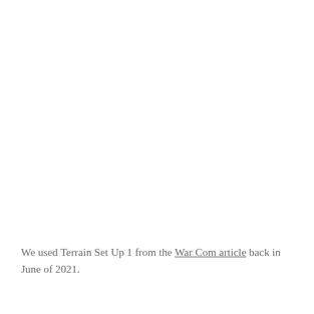We used Terrain Set Up 1 from the War Com article back in June of 2021.